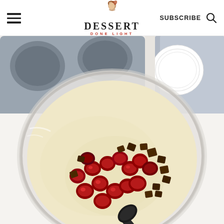DESSERT DONE LIGHT - navigation header with logo, subscribe, and search
[Figure (photo): Overhead view of a glass mixing bowl containing muffin batter topped with halved fresh cherries and chopped chocolate chunks, with a dark spatula resting in the bowl. In the background, a gray silicone muffin tin with liners and a white paper cupcake liner are visible on a white surface, along with a gray cloth napkin.]